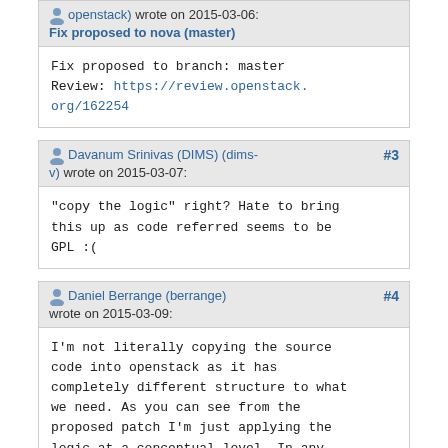openstack) wrote on 2015-03-06: Fix proposed to nova (master)
Fix proposed to branch: master
Review: https://review.openstack.org/162254
Davanum Srinivas (DIMS) (dims-v) wrote on 2015-03-07: #3
"copy the logic" right? Hate to bring this up as code referred seems to be GPL :(
Daniel Berrange (berrange) wrote on 2015-03-09: #4
I'm not literally copying the source code into openstack as it has completely different structure to what we need. As you can see from the proposed patch I'm just applying the logic at a conceptual level. In any case, the code in question was written